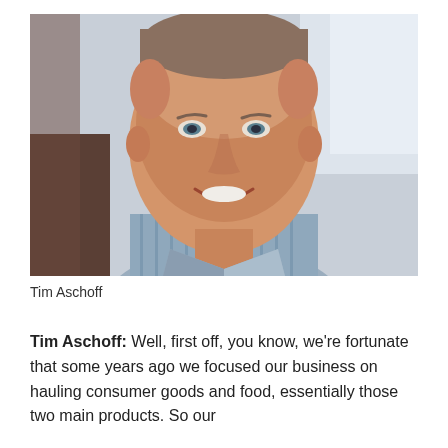[Figure (photo): Headshot of Tim Aschoff, a middle-aged man with short hair, smiling, wearing a blue and white striped collared shirt. Background is blurred office/window environment.]
Tim Aschoff
Tim Aschoff: Well, first off, you know, we're fortunate that some years ago we focused our business on hauling consumer goods and food, essentially those two main products. So our